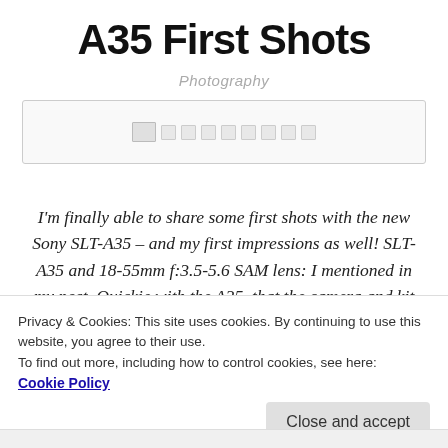A35 First Shots
Photography
[Figure (screenshot): Slideshow navigation bar with thumbnail and dot indicators]
I'm finally able to share some first shots with the new Sony SLT-A35 – and my first impressions as well! SLT-A35 and 18-55mm f:3.5-5.6 SAM lens: I mentioned in my post, Quickie with the A35, that the camera and kit lens just plain feel good. With my own, I spent some time customizing the
Privacy & Cookies: This site uses cookies. By continuing to use this website, you agree to their use.
To find out more, including how to control cookies, see here:
Cookie Policy
Close and accept